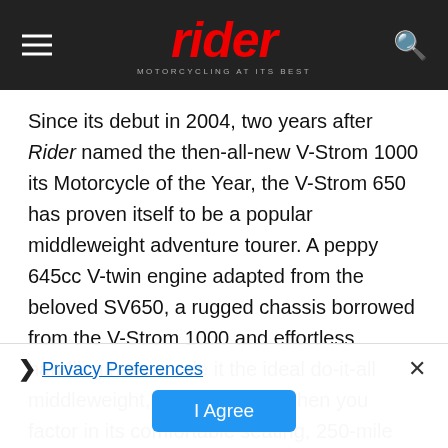rider — MOTORCYCLING AT ITS BEST
Since its debut in 2004, two years after Rider named the then-all-new V-Strom 1000 its Motorcycle of the Year, the V-Strom 650 has proven itself to be a popular middleweight adventure tourer. A peppy 645cc V-twin engine adapted from the beloved SV650, a rugged chassis borrowed from the V-Strom 1000 and effortless handling have made it the ideal do-it-all middleweight, even more so when you factor in its comfortable seating, 250-mile range and reasonable price. What's not to love?
❯ Privacy Preferences
I Agree